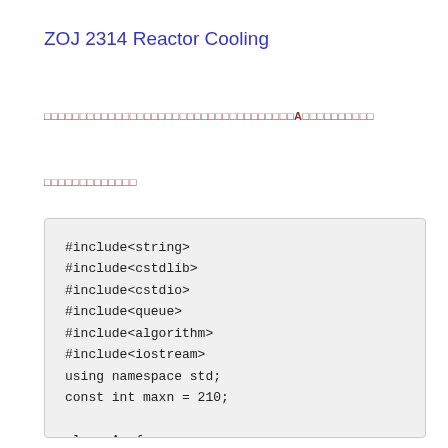ZOJ 2314 Reactor Cooling
□□□□□□□□□□□□□□□□□□□□□□□□□□□□□□□□□□□A□□□□□□□□□□
□□□□□□□□□□□□□
#include<string>
#include<cstdlib>
#include<cstdio>
#include<queue>
#include<algorithm>
#include<iostream>
using namespace std;
const int maxn = 210;

class Arc{
public: